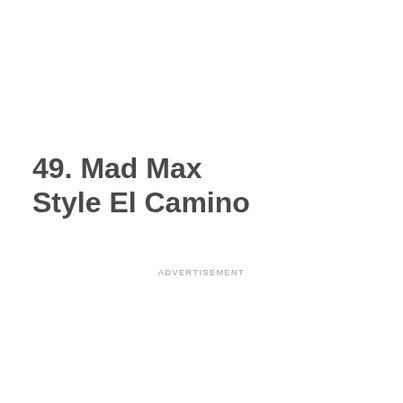49. Mad Max Style El Camino
ADVERTISEMENT